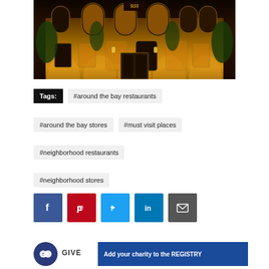[Figure (photo): Nighttime exterior photo of a luxury hotel facade with warm uplighting illuminating the building's ornate architecture, arched windows, and tropical plants]
Tags: #around the bay restaurants
#around the bay stores
#must visit places
#neighborhood restaurants
#neighborhood stores
[Figure (infographic): Social media sharing buttons: Facebook (blue), Pinterest (red), Twitter (light blue), LinkedIn (dark blue), Email (grey)]
GIVE
Add your charity to the REGISTRY